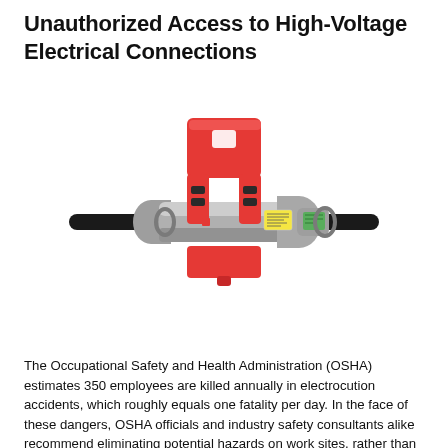Unauthorized Access to High-Voltage Electrical Connections
[Figure (photo): A red lockout/tagout device clamped around a cylindrical grey high-voltage electrical connector/plug. Black cables extend from both sides. The red device has a box-like housing on top. A yellow warning label and a green circuit board are visible on the connector.]
The Occupational Safety and Health Administration (OSHA) estimates 350 employees are killed annually in electrocution accidents, which roughly equals one fatality per day. In the face of these dangers, OSHA officials and industry safety consultants alike recommend eliminating potential hazards on work sites, rather than simply relying on contractors or employees to follow safety guidelines.